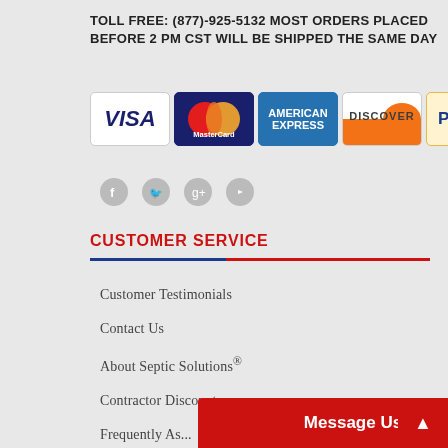TOLL FREE: (877)-925-5132 MOST ORDERS PLACED BEFORE 2 PM CST WILL BE SHIPPED THE SAME DAY
[Figure (logo): Payment method logos: Visa, MasterCard, American Express, Discover, PayPal]
[Figure (infographic): Social media icons: Facebook, Twitter, Google+, YouTube]
CUSTOMER SERVICE
Customer Testimonials
Contact Us
About Septic Solutions®
Contractor Discounts
Frequently As...
Buyer's Guide
Message Us